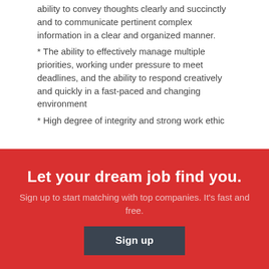ability to convey thoughts clearly and succinctly and to communicate pertinent complex information in a clear and organized manner.
* The ability to effectively manage multiple priorities, working under pressure to meet deadlines, and the ability to respond creatively and quickly in a fast-paced and changing environment
* High degree of integrity and strong work ethic
Let your dream job find you.
Sign up to start matching with top companies. It's fast and free.
Sign up